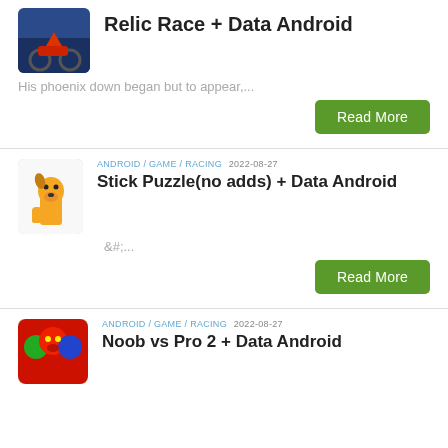Relic Race + Data Android
His phoenix down began but to appear,...
Read More
ANDROID / GAME / RACING  2022-08-27
Stick Puzzle(no adds) + Data Android
&#;...
Read More
ANDROID / GAME / RACING  2022-08-27
Noob vs Pro 2 + Data Android